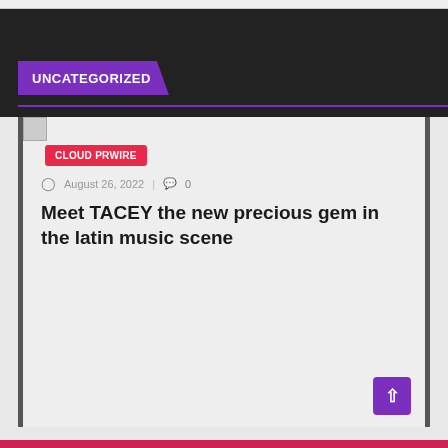UNCATEGORIZED
CLOUD PRWIRE
August 26, 2022  |  0
Meet TACEY the new precious gem in the latin music scene